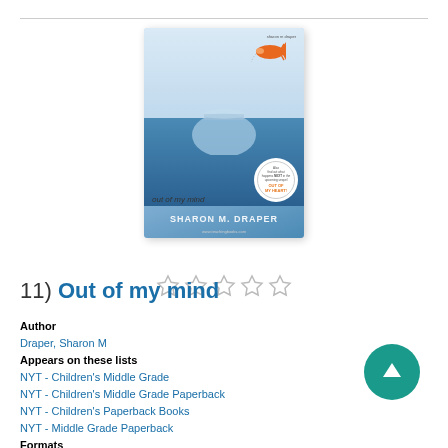[Figure (illustration): Book cover of 'Out of my mind' by Sharon M. Draper, showing a goldfish leaping from a fishbowl against a blue sky background, with a circular badge/sticker]
[Figure (other): Five empty/unfilled star rating icons]
11) Out of my mind
Author
Draper, Sharon M
Appears on these lists
NYT - Children's Middle Grade
NYT - Children's Middle Grade Paperback
NYT - Children's Paperback Books
NYT - Middle Grade Paperback
Formats
Book, Audio CD